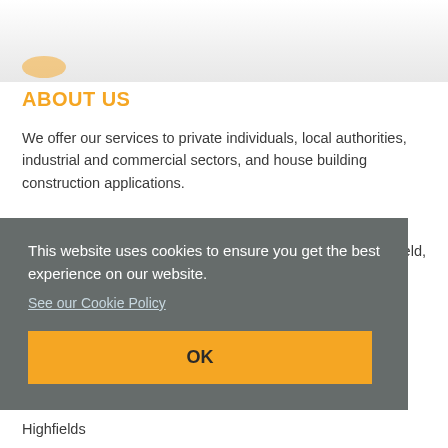ABOUT US
We offer our services to private individuals, local authorities, industrial and commercial sectors, and house building construction applications.
As we are Derby based, we cover all Midlands based areas ... hfield,
[Figure (screenshot): Cookie consent overlay with dark gray background, message 'This website uses cookies to ensure you get the best experience on our website.', a 'See our Cookie Policy' link, and an orange OK button.]
Highfields